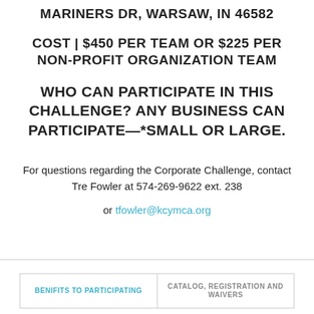MARINERS DR, WARSAW, IN 46582
COST | $450 PER TEAM OR $225 PER NON-PROFIT ORGANIZATION TEAM
WHO CAN PARTICIPATE IN THIS CHALLENGE? ANY BUSINESS CAN PARTICIPATE—*SMALL OR LARGE.
For questions regarding the Corporate Challenge, contact Tre Fowler at 574-269-9622 ext. 238
or tfowler@kcymca.org
BENIFITS TO PARTICIPATING
CATALOG, REGISTRATION AND WAIVERS